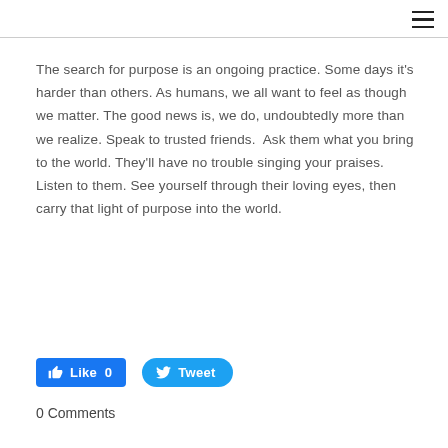[hamburger menu icon]
The search for purpose is an ongoing practice. Some days it's harder than others. As humans, we all want to feel as though we matter. The good news is, we do, undoubtedly more than we realize. Speak to trusted friends.  Ask them what you bring to the world. They'll have no trouble singing your praises. Listen to them. See yourself through their loving eyes, then carry that light of purpose into the world.
[Figure (other): Facebook Like button (0 likes) and Twitter Tweet button]
0 Comments